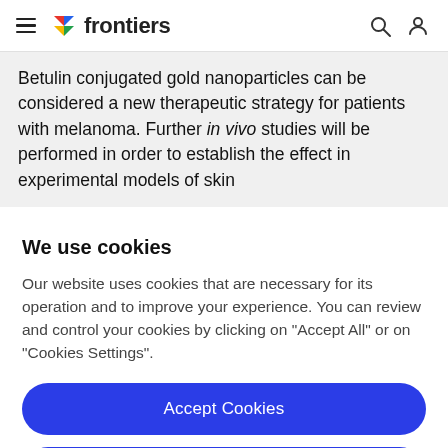frontiers
Betulin conjugated gold nanoparticles can be considered a new therapeutic strategy for patients with melanoma. Further in vivo studies will be performed in order to establish the effect in experimental models of skin
We use cookies
Our website uses cookies that are necessary for its operation and to improve your experience. You can review and control your cookies by clicking on "Accept All" or on "Cookies Settings".
Accept Cookies
Cookies Settings